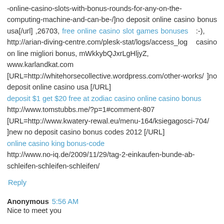-online-casino-slots-with-bonus-rounds-for-any-on-the-computing-machine-and-can-be-/]no deposit online casino bonus usa[/url] ,26703, free online casino slot games bonuses :-), http://arian-diving-centre.com/plesk-stat/logs/access_log casino on line migliori bonus, mWkkybQJxrLgHljyZ,
www.karlandkat.com
[URL=http://whitehorsecollective.wordpress.com/other-works/ ]no deposit online casino usa [/URL]
deposit $1 get $20 free at zodiac casino online casino bonus
http://www.tomstubbs.me/?p=1#comment-807
[URL=http://www.kwatery-rewal.eu/menu-164/ksiegagosci-704/ ]new no deposit casino bonus codes 2012 [/URL]
online casino king bonus-code
http://www.no-iq.de/2009/11/29/tag-2-einkaufen-bunde-ab-schleifen-schleifen-schleifen/
Reply
Anonymous  5:56 AM
Nice to meet you